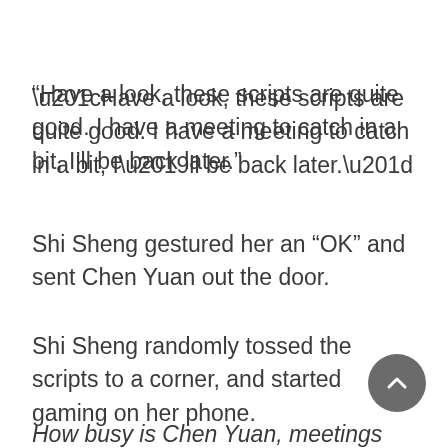“Have a look, these scripts are quite good. I have a meeting to catch in a bit, I’ll be back later.”
Shi Sheng gestured her an “OK” and sent Chen Yuan out the door.
Shi Sheng randomly tossed the scripts to a corner, and started gaming on her phone.
How busy is Chen Yuan, meetings after meetings, and each time, celebrities get in trouble because of